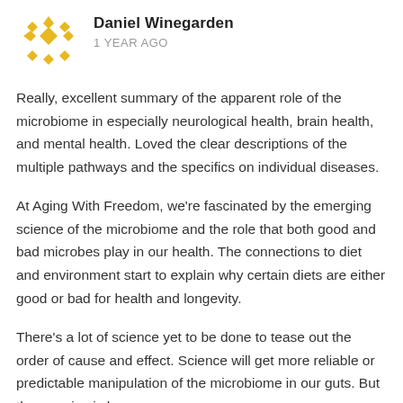[Figure (logo): Yellow/gold geometric diamond pattern avatar icon for user Daniel Winegarden]
Daniel Winegarden
1 YEAR AGO
Really, excellent summary of the apparent role of the microbiome in especially neurological health, brain health, and mental health. Loved the clear descriptions of the multiple pathways and the specifics on individual diseases.
At Aging With Freedom, we're fascinated by the emerging science of the microbiome and the role that both good and bad microbes play in our health. The connections to diet and environment start to explain why certain diets are either good or bad for health and longevity.
There's a lot of science yet to be done to tease out the order of cause and effect. Science will get more reliable or predictable manipulation of the microbiome in our guts. But the promise is huge.